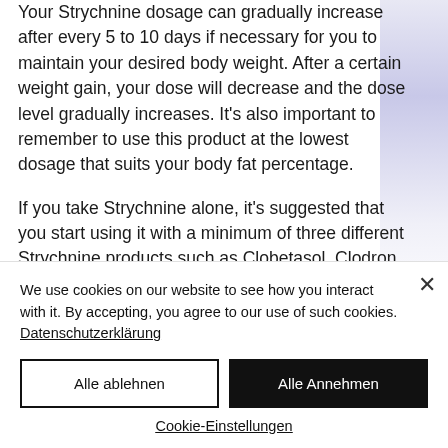Your Strychnine dosage can gradually increase after every 5 to 10 days if necessary for you to maintain your desired body weight. After a certain weight gain, your dose will decrease and the dose level gradually increases. It's also important to remember to use this product at the lowest dosage that suits your body fat percentage.
If you take Strychnine alone, it's suggested that you start using it with a minimum of three different Strychnine products such as Clobetasol, Clodron, Dexedrine, Clostebol,
[Figure (photo): Partial image of a blurred blue/purple object on right side of page]
We use cookies on our website to see how you interact with it. By accepting, you agree to our use of such cookies. Datenschutzerklärung
Alle ablehnen
Alle Annehmen
Cookie-Einstellungen